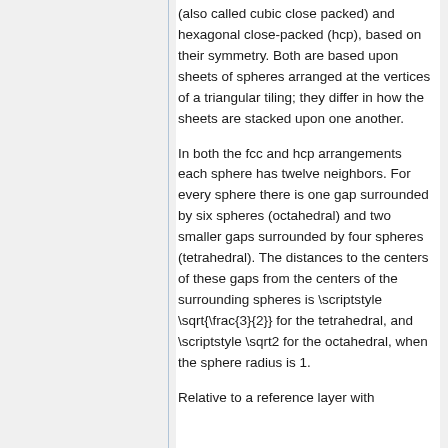(also called cubic close packed) and hexagonal close-packed (hcp), based on their symmetry. Both are based upon sheets of spheres arranged at the vertices of a triangular tiling; they differ in how the sheets are stacked upon one another.
In both the fcc and hcp arrangements each sphere has twelve neighbors. For every sphere there is one gap surrounded by six spheres (octahedral) and two smaller gaps surrounded by four spheres (tetrahedral). The distances to the centers of these gaps from the centers of the surrounding spheres is \scriptstyle \sqrt{\frac{3}{2}} for the tetrahedral, and \scriptstyle \sqrt2 for the octahedral, when the sphere radius is 1.
Relative to a reference layer with